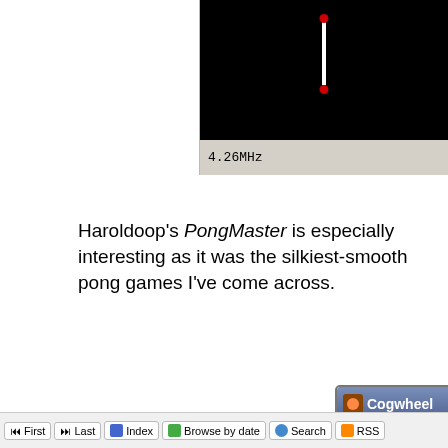[Figure (screenshot): Top-right screenshot of a pong game running in emulator, showing a black screen with a white vertical line and red ball, with frequency readout '4.26MHz' below.]
Haroldoop's PongMaster is especially interesting as it was the silkiest-smooth pong games I've come across.
[Figure (screenshot): Cogwheel emulator window showing a demo intro screen on blue background with white monospace text: ♥aN!maL presents♥ their first 32k dentro: !! paws !! released for the smspower 2006 coding competition code and graphics: furrtek music: oxbow this demo is *Not* finished!!! those 32k are still 63% free!!]
⏮ First  ⏭ Last    Index   Browse by date   Search   RSS